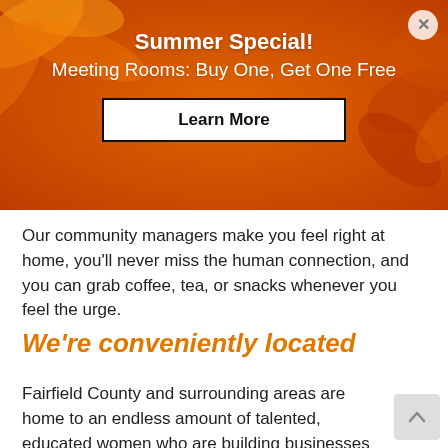[Figure (infographic): Orange/sunflower banner with promotional text and button]
Summer Special!
Meeting Rooms: Buy One, Get One Free
Learn More
Our community managers make you feel right at home, you'll never miss the human connection, and you can grab coffee, tea, or snacks whenever you feel the urge.
We're conveniently located
Fairfield County and surrounding areas are home to an endless amount of talented, educated women who are building businesses to improve all of our lives.
HAYVN is ideally situated to bring these women together.